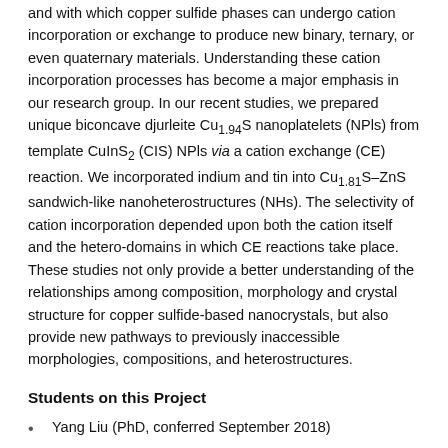and with which copper sulfide phases can undergo cation incorporation or exchange to produce new binary, ternary, or even quaternary materials. Understanding these cation incorporation processes has become a major emphasis in our research group. In our recent studies, we prepared unique biconcave djurleite Cu1.94S nanoplatelets (NPls) from template CuInS2 (CIS) NPls via a cation exchange (CE) reaction. We incorporated indium and tin into Cu1.81S–ZnS sandwich-like nanoheterostructures (NHs). The selectivity of cation incorporation depended upon both the cation itself and the hetero-domains in which CE reactions take place. These studies not only provide a better understanding of the relationships among composition, morphology and crystal structure for copper sulfide-based nanocrystals, but also provide new pathways to previously inaccessible morphologies, compositions, and heterostructures.
Students on this Project
Yang Liu (PhD, conferred September 2018)
Deqiang Yin (PhD, conferred September 2018)
Li... (PhD, conferred February 2018)